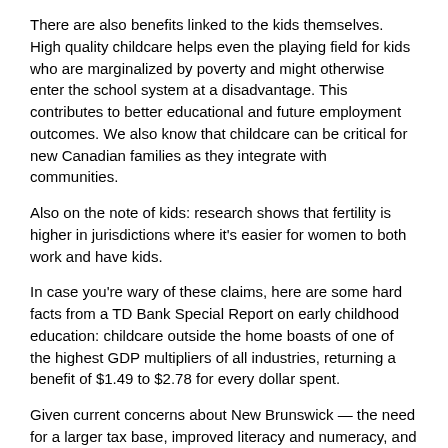There are also benefits linked to the kids themselves. High quality childcare helps even the playing field for kids who are marginalized by poverty and might otherwise enter the school system at a disadvantage. This contributes to better educational and future employment outcomes. We also know that childcare can be critical for new Canadian families as they integrate with communities.
Also on the note of kids: research shows that fertility is higher in jurisdictions where it's easier for women to both work and have kids.
In case you're wary of these claims, here are some hard facts from a TD Bank Special Report on early childhood education: childcare outside the home boasts of one of the highest GDP multipliers of all industries, returning a benefit of $1.49 to $2.78 for every dollar spent.
Given current concerns about New Brunswick — the need for a larger tax base, improved literacy and numeracy, and a reversal of our declining population trends — and the emphasis on strategic investments, why don't we hear about childcare during government streaks of funding announcements? Add in government's commitment to advancing women's equality and this should be an obvious policy path.
One reason is that there are competing visions of what public investment in childcare should look like. There is, broadly, agreement that more spaces are needed (particularly for infants), that spaces...